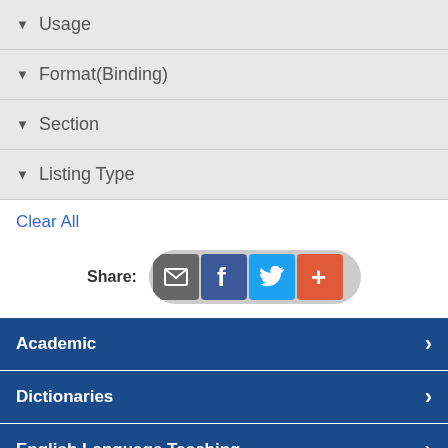▼ Usage
▼ Format(Binding)
▼ Section
▼ Listing Type
Clear All
Share:
Academic
Dictionaries
English Language Teaching